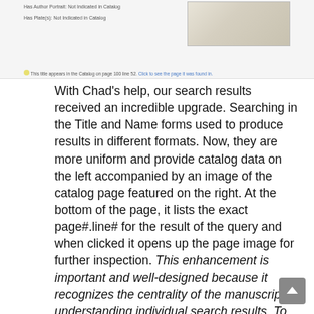[Figure (screenshot): Screenshot of a catalog entry showing 'Has Author Portrait: Not Indicated in Catalog' and 'Has Plate(s): Not Indicated in Catalog' fields, with a faded manuscript image on the right. Below is a note that the title appears in the Catalog on page 100 line 52, with a link and an Edit link.]
With Chad's help, our search results received an incredible upgrade. Searching in the Title and Name forms used to produce results in different formats. Now, they are more uniform and provide catalog data on the left accompanied by an image of the catalog page featured on the right. At the bottom of the page, it lists the exact page#.line# for the result of the query and when clicked it opens up the page image for further inspection. This enhancement is important and well-designed because it recognizes the centrality of the manuscript to understanding individual search results. To understand what a specific author or title is to this library necessitates seeing that name or title on the manuscript page and considering its relationship to the other contents of